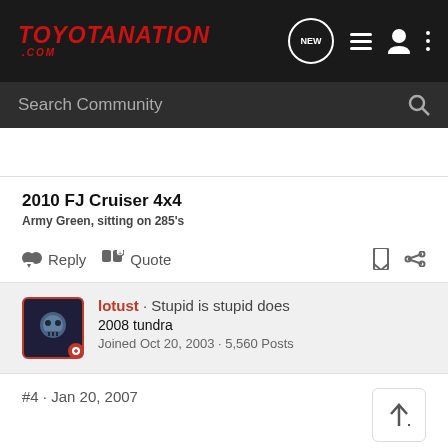[Figure (logo): ToyotaNation.com logo in red italic text on dark background]
Search Community
2010 FJ Cruiser 4x4
Army Green, sitting on 285's
Reply  Quote
lotust · Stupid is stupid does
2008 tundra
Joined Oct 20, 2003 · 5,560 Posts
#4 · Jan 20, 2007
lift plus the added tire height.